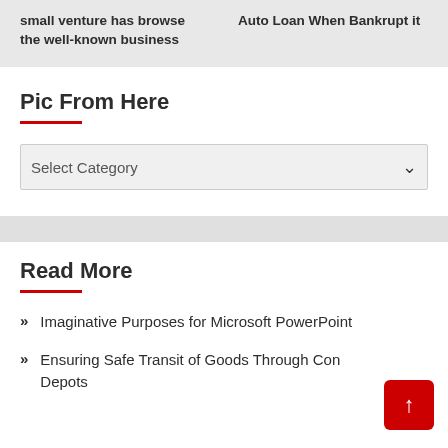small venture has browse the well-known business
Auto Loan When Bankrupt it
Pic From Here
Select Category
Read More
Imaginative Purposes for Microsoft PowerPoint
Ensuring Safe Transit of Goods Through Con Depots